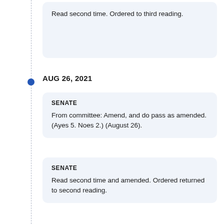Read second time. Ordered to third reading.
AUG 26, 2021
SENATE
From committee: Amend, and do pass as amended. (Ayes 5. Noes 2.) (August 26).
SENATE
Read second time and amended. Ordered returned to second reading.